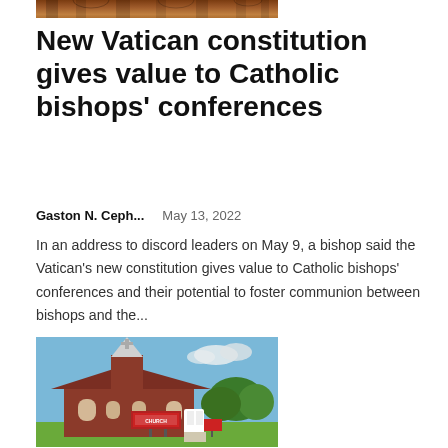[Figure (photo): Top portion of a church or cathedral building with ornate facade]
New Vatican constitution gives value to Catholic bishops' conferences
Gaston N. Ceph...    May 13, 2022
In an address to discord leaders on May 9, a bishop said the Vatican's new constitution gives value to Catholic bishops' conferences and their potential to foster communion between bishops and the...
[Figure (photo): A red brick church building with a white steeple, a sign in front, and green grass lawn under a blue sky]